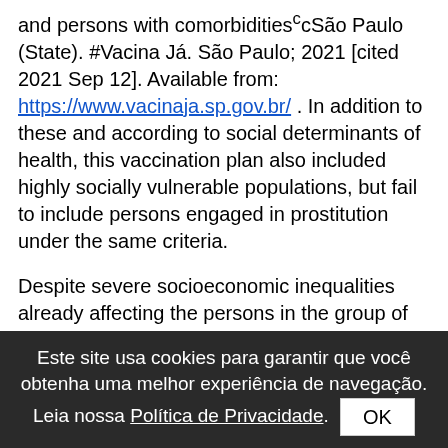and persons with comorbidities^c cSão Paulo (State). #Vacina Já. São Paulo; 2021 [cited 2021 Sep 12]. Available from: https://www.vacinaja.sp.gov.br/ . In addition to these and according to social determinants of health, this vaccination plan also included highly socially vulnerable populations, but fail to include persons engaged in prostitution under the same criteria.

Despite severe socioeconomic inequalities already affecting the persons in the group of vulnerable populations, the COVID-19 pandemic caused a health, economic, political, and social crisis which further worsened these persons' vulnerability^1 1. Platt L, Elmes J, Stevenson L, Holt V, Rolles S, Stuart R. Sex workers must not be forgotten in the COVID-19 response. Lancet. 2020;396(10243):9-11. https://doi.org/10.1016/S0140-6736(20)31033-3 https://doi.org/10.1016/S0140-6736(20)31... . Thus, women engaged in prostitution's sociodemographic characteristics, health, access to services, exposure and history of contamination should inform the attention and care allocated toward this population, so as to include them in vaccination priority groups. We conducted
Este site usa cookies para garantir que você obtenha uma melhor experiência de navegação. Leia nossa Política de Privacidade. OK